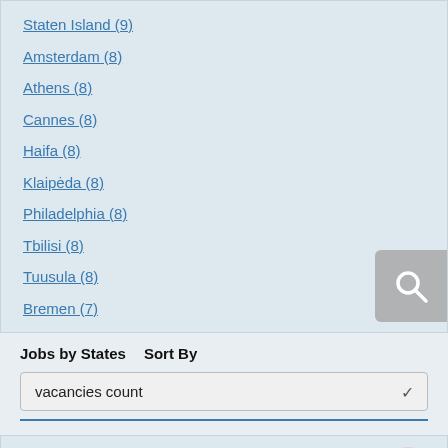Staten Island (9)
Amsterdam (8)
Athens (8)
Cannes (8)
Haifa (8)
Klaipėda (8)
Philadelphia (8)
Tbilisi (8)
Tuusula (8)
Bremen (7)
Jobs by States   Sort By
vacancies count
Ile-de-France (188)
New York (187)